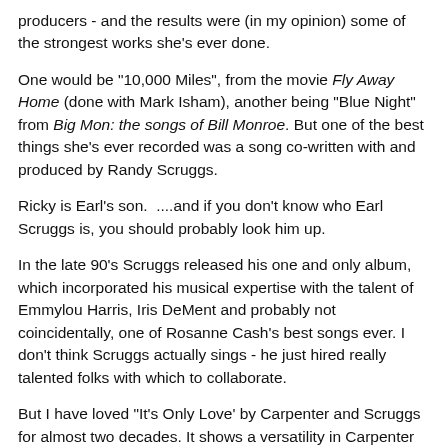producers - and the results were (in my opinion) some of the strongest works she's ever done.
One would be "10,000 Miles", from the movie Fly Away Home (done with Mark Isham), another being "Blue Night" from Big Mon: the songs of Bill Monroe. But one of the best things she's ever recorded was a song co-written with and produced by Randy Scruggs.
Ricky is Earl's son.  ....and if you don't know who Earl Scruggs is, you should probably look him up.
In the late 90's Scruggs released his one and only album, which incorporated his musical expertise with the talent of Emmylou Harris, Iris DeMent and probably not coincidentally, one of Rosanne Cash's best songs ever. I don't think Scruggs actually sings - he just hired really talented folks with which to collaborate.
But I have loved "It's Only Love' by Carpenter and Scruggs for almost two decades. It shows a versatility in Carpenter that she clearly has, but doesn't always show in the studio